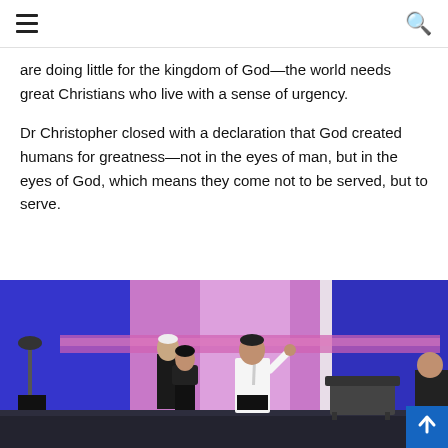Navigation menu and search
are doing little for the kingdom of God—the world needs great Christians who live with a sense of urgency.
Dr Christopher closed with a declaration that God created humans for greatness—not in the eyes of man, but in the eyes of God, which means they come not to be served, but to serve.
[Figure (photo): A speaker in a white shirt with a tie gestures on a colorful stage with blue and pink backdrops; two other people stand nearby behind a podium; stage equipment including music stands visible on left and right]